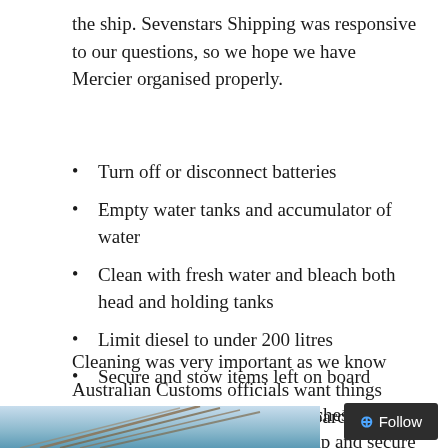the ship. Sevenstars Shipping was responsive to our questions, so we hope we have Mercier organised properly.
Turn off or disconnect batteries
Empty water tanks and accumulator of water
Clean with fresh water and bleach both head and holding tanks
Limit diesel to under 200 litres
Secure and stow items left on board
Tape shut all lockers and hatches, wrap any breakables in bubble wrap and secure against movements in the boat
Cleaning was very important as we know Australian Customs officials want things clean, we even lifted the floor boards and cleaned the bilge.
[Figure (photo): Partial view of a boat or ship with cables/rigging visible, blue sky and water in background]